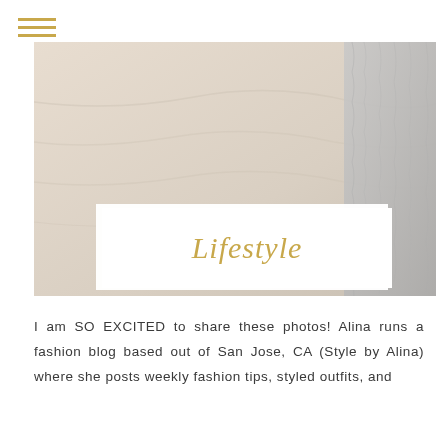[Figure (other): Hamburger menu icon with three horizontal golden lines]
[Figure (photo): Close-up photo of soft beige/cream fabric or bedding with a gray knit texture visible on the right side]
Lifestyle
I am SO EXCITED to share these photos! Alina runs a fashion blog based out of San Jose, CA (Style by Alina) where she posts weekly fashion tips, styled outfits, and